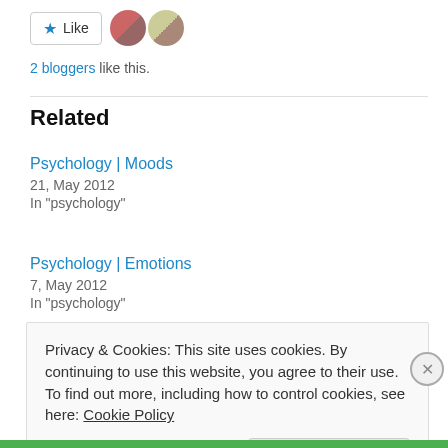[Figure (other): Like button with star icon and two blogger avatars]
2 bloggers like this.
Related
Psychology | Moods
21, May 2012
In "psychology"
Psychology | Emotions
7, May 2012
In "psychology"
How to better yourself
Privacy & Cookies: This site uses cookies. By continuing to use this website, you agree to their use.
To find out more, including how to control cookies, see here: Cookie Policy
Close and accept